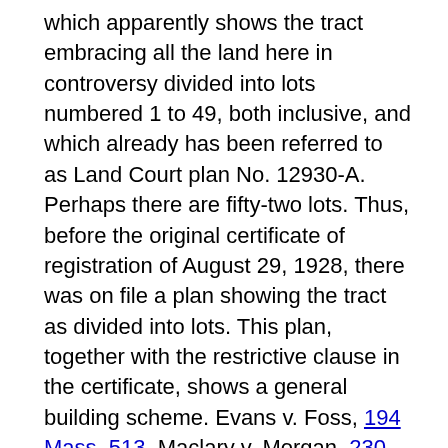which apparently shows the tract embracing all the land here in controversy divided into lots numbered 1 to 49, both inclusive, and which already has been referred to as Land Court plan No. 12930-A. Perhaps there are fifty-two lots. Thus, before the original certificate of registration of August 29, 1928, there was on file a plan showing the tract as divided into lots. This plan, together with the restrictive clause in the certificate, shows a general building scheme. Evans v. Foss, 194 Mass. 513. Maclary v. Morgan, 230 Mass. 80. Snow v. Van Dam, 291 Mass. 477. During the period when lots were being sold by Roop as trustee, there was a sign on his office reading "High grade development. Homes, all improvements and restrictions." Roop also stated to purchasers that the tract was restricted to residential purposes. The persons to whom such representations